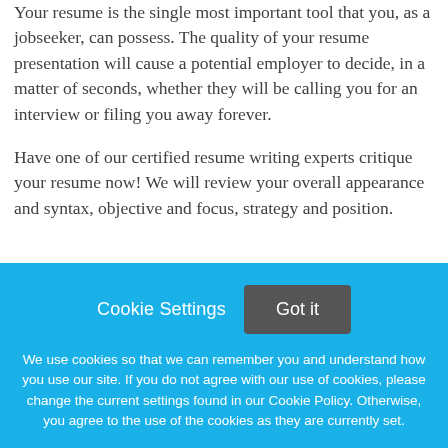Your resume is the single most important tool that you, as a jobseeker, can possess. The quality of your resume presentation will cause a potential employer to decide, in a matter of seconds, whether they will be calling you for an interview or filing you away forever.
Have one of our certified resume writing experts critique your resume now! We will review your overall appearance and syntax, objective and focus, strategy and position.
Cookie Settings
Got it
We use cookies so that we can remember you and understand how you use our site. If you do not agree with our use of cookies, please change the current settings found in our Cookie Policy. Otherwise, you agree to the use of the cookies as they are currently set.